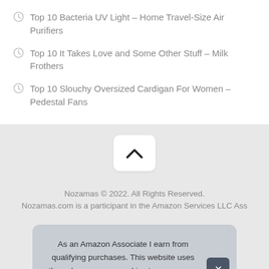Top 10 Bacteria UV Light – Home Travel-Size Air Purifiers
Top 10 It Takes Love and Some Other Stuff – Milk Frothers
Top 10 Slouchy Oversized Cardigan For Women – Pedestal Fans
[Figure (other): Chevron/up arrow button for scroll to top]
Nozamas © 2022. All Rights Reserved. Nozamas.com is a participant in the Amazon Services LLC Ass...
As an Amazon Associate I earn from qualifying purchases. This website uses the only necessary cookies to ensure you get the best experience on our website. More information